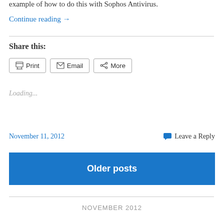example of how to do this with Sophos Antivirus.
Continue reading →
Share this:
Print  Email  More
Loading...
November 11, 2012
Leave a Reply
Older posts
NOVEMBER 2012